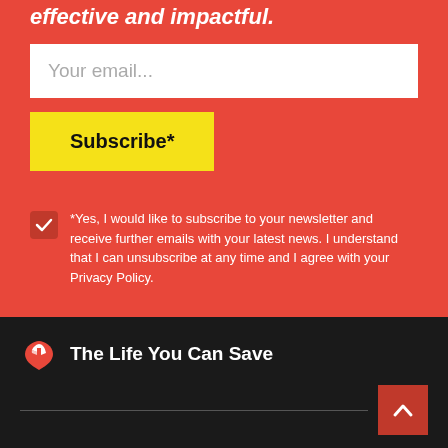effective and impactful.
Your email...
Subscribe*
*Yes, I would like to subscribe to your newsletter and receive further emails with your latest news. I understand that I can unsubscribe at any time and I agree with your Privacy Policy.
[Figure (logo): The Life You Can Save logo — red heart with white hand silhouette]
The Life You Can Save
Follow us and join the conversation.
[Figure (infographic): Social media icons: Twitter, Facebook, LinkedIn, YouTube, Instagram, Podcast]